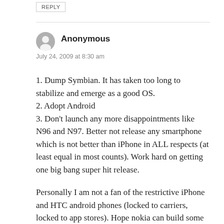Anonymous
July 24, 2009 at 8:30 am
1. Dump Symbian. It has taken too long to stabilize and emerge as a good OS.
2. Adopt Android
3. Don't launch any more disappointments like N96 and N97. Better not release any smartphone which is not better than iPhone in ALL respects (at least equal in most counts). Work hard on getting one big bang super hit release.
Personally I am not a fan of the restrictive iPhone and HTC android phones (locked to carriers, locked to app stores). Hope nokia can build some great smartphones